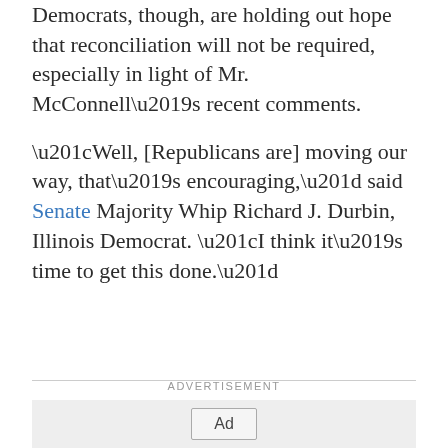Democrats, though, are holding out hope that reconciliation will not be required, especially in light of Mr. McConnell’s recent comments.
“Well, [Republicans are] moving our way, that’s encouraging,” said Senate Majority Whip Richard J. Durbin, Illinois Democrat. “I think it’s time to get this done.”
ADVERTISEMENT
[Figure (other): Advertisement placeholder box with an Ad button in the center]